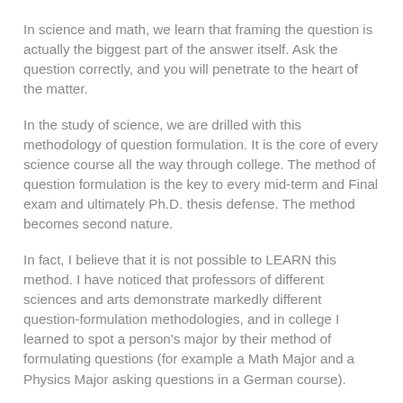In science and math, we learn that framing the question is actually the biggest part of the answer itself. Ask the question correctly, and you will penetrate to the heart of the matter.
In the study of science, we are drilled with this methodology of question formulation. It is the core of every science course all the way through college. The method of question formulation is the key to every mid-term and Final exam and ultimately Ph.D. thesis defense. The method becomes second nature.
In fact, I believe that it is not possible to LEARN this method. I have noticed that professors of different sciences and arts demonstrate markedly different question-formulation methodologies, and in college I learned to spot a person's major by their method of formulating questions (for example a Math Major and a Physics Major asking questions in a German course).
We are each born with a certain style of thinking. It is an